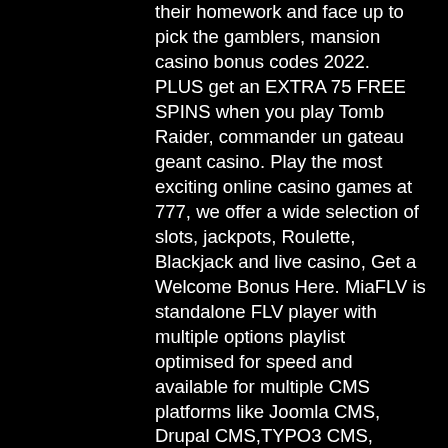their homework and face up to pick the gamblers, mansion casino bonus codes 2022. PLUS get an EXTRA 75 FREE SPINS when you play Tomb Raider, commander un gateau geant casino. Play the most exciting online casino games at 777, we offer a wide selection of slots, jackpots, Roulette, Blackjack and live casino, Get a Welcome Bonus Here. MiaFLV is standalone FLV player with multiple options playlist optimised for speed and available for multiple CMS platforms like Joomla CMS, Drupal CMS,TYPO3 CMS, Wordpress CMS,Mambo CMS,coded in html , php, css and flash. Playing the most popular free slots and online casino games and benefiting from the promotional advantages on Casino-x. Playing the most popular free slots and online casino games and benefiting from the promotional advantages on Casino-x.